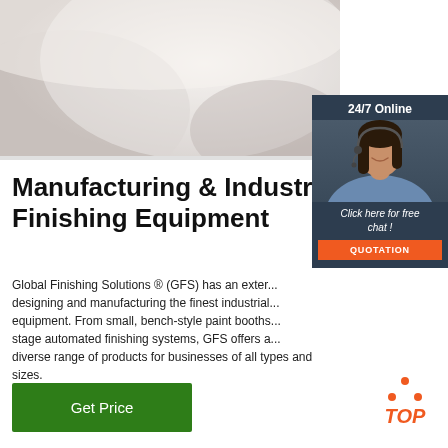[Figure (photo): Close-up photo of industrial finishing material or fabric, light grey/white tones]
[Figure (infographic): 24/7 Online chat widget with woman wearing headset, orange QUOTATION button]
Manufacturing & Industrial Finishing Equipment
Global Finishing Solutions ® (GFS) has an extensive history of designing and manufacturing the finest industrial finishing equipment. From small, bench-style paint booths to multi-stage automated finishing systems, GFS offers a diverse range of products for businesses of all types and sizes.
Get Price
[Figure (logo): TOP button with orange dot triangle icon and orange italic TOP text]